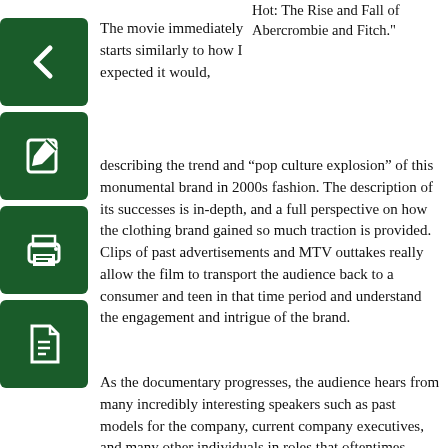[Figure (other): Back arrow navigation icon button (dark green square)]
[Figure (other): Edit/pencil icon button (dark green square)]
[Figure (other): Print icon button (dark green square)]
[Figure (other): PDF/document icon button (dark green square)]
Hot: The Rise and Fall of Abercrombie and Fitch."
The movie immediately starts similarly to how I expected it would, describing the trend and “pop culture explosion” of this monumental brand in 2000s fashion. The description of its successes is in-depth, and a full perspective on how the clothing brand gained so much traction is provided. Clips of past advertisements and MTV outtakes really allow the film to transport the audience back to a consumer and teen in that time period and understand the engagement and intrigue of the brand.
As the documentary progresses, the audience hears from many incredibly interesting speakers such as past models for the company, current company executives, and many other individuals in roles that oftentimes aren’t as heavily represented in these types of productions such as talent scouts and past retail workers for the brand. These intriguing perspectives allowed for many different points of view on the main topic covered in the documentary: exclusion.
Despite the beginning of this film pushing a fun and lighthearted tone, the theme of exclusion is there from the very beginning. The audience instantly learns that the main appeal of this brand was its preppy aesthetic and push for its